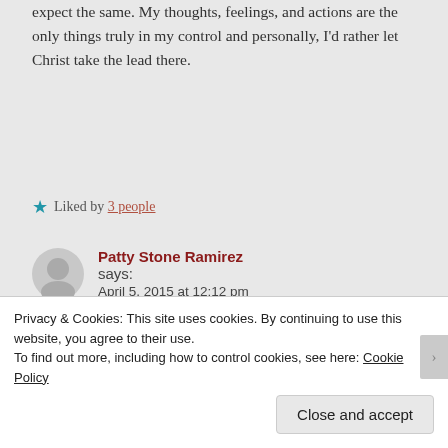expect the same. My thoughts, feelings, and actions are the only things truly in my control and personally, I'd rather let Christ take the lead there.
★ Liked by 3 people
Patty Stone Ramirez says:
April 5, 2015 at 12:12 pm
Well said, sharayakai! I only wish my mother and I could have found peace before she died. I did not have the wisdom to let go of the
Privacy & Cookies: This site uses cookies. By continuing to use this website, you agree to their use.
To find out more, including how to control cookies, see here: Cookie Policy
Close and accept